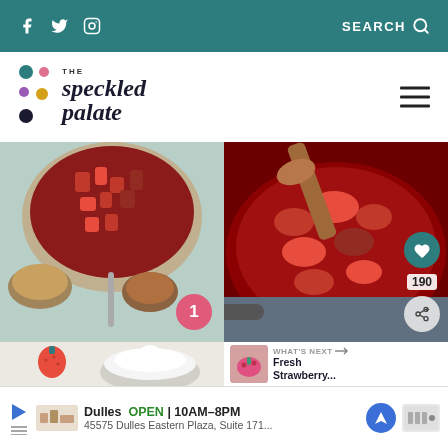The Speckled Palate — SEARCH
[Figure (logo): The Speckled Palate logo with colorful dots and stylized italic text]
[Figure (photo): Step 1: Overhead view of chopped rhubarb and strawberries in a saucepan with two cups of liquid ingredients beside it on a floral cloth]
[Figure (photo): Step 2: Close-up of red cooked strawberry mixture in a saucepan being stirred with a wooden spoon, with heart and share overlay buttons showing 190]
[Figure (photo): Step 3: A fresh strawberry next to a glass bowl with whipped cream on a light background]
[Figure (photo): Step 4: Close-up of a dark brown chocolate or caramel mixture in a pan; What's Next banner showing Fresh Strawberry...]
Dulles OPEN | 10AM–8PM 45575 Dulles Eastern Plaza, Suite 171...